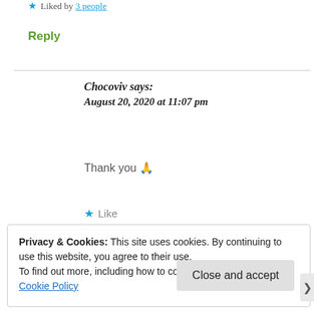★ Liked by 3 people
Reply
Chocoviv says: August 20, 2020 at 11:07 pm
Thank you 🙏
★ Like
Privacy & Cookies: This site uses cookies. By continuing to use this website, you agree to their use.
To find out more, including how to control cookies, see here: Cookie Policy
Close and accept